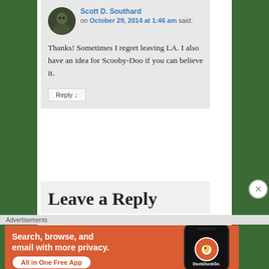[Figure (screenshot): Comment by Scott D. Southard on October 29, 2014 at 1:46 am with user avatar photo]
Thanks! Sometimes I regret leaving LA. I also have an idea for Scooby-Doo if you can believe it.
Reply ↓
Leave a Reply
Advertisements
[Figure (screenshot): DuckDuckGo advertisement: Search, browse, and email with more privacy. All in One Free App. Shows DuckDuckGo logo and phone mockup.]